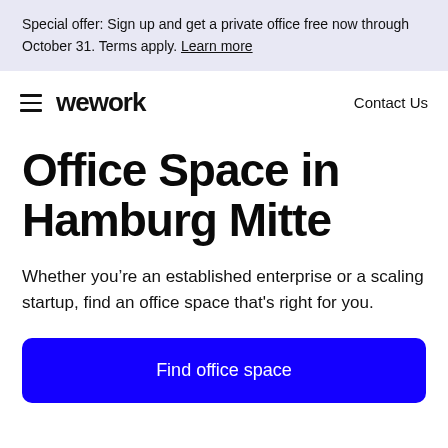Special offer: Sign up and get a private office free now through October 31. Terms apply. Learn more
wework   Contact Us
Office Space in Hamburg Mitte
Whether you’re an established enterprise or a scaling startup, find an office space that's right for you.
Find office space